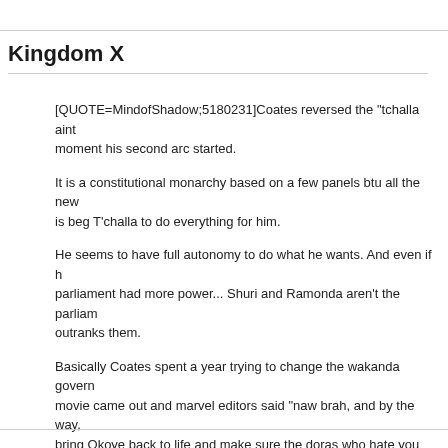Kingdom X
[QUOTE=MindofShadow;5180231]Coates reversed the "tchalla aint king" moment his second arc started.

It is a constitutional monarchy based on a few panels btu all the new parliament does is beg T'challa to do everything for him.

He seems to have full autonomy to do what he wants. And even if he didn't, and parliament had more power... Shuri and Ramonda aren't the parliament and he still outranks them.

Basically Coates spent a year trying to change the wakanda government, then the movie came out and marvel editors said "naw brah, and by the way, you also need to bring Okoye back to life and make sure the doras who hate you now love him again like that movie salute thing and oh btw, all that work you spent making Shuri a super inventor genius now that shits got to go"[/QUOTE]

I know this is off topic, but I HATE forced synergy with the movies. Like what's gonna happen in a couple of years when you run out of source material and realize the most recent comics are just cheap imitations of the movies you want to compete with.